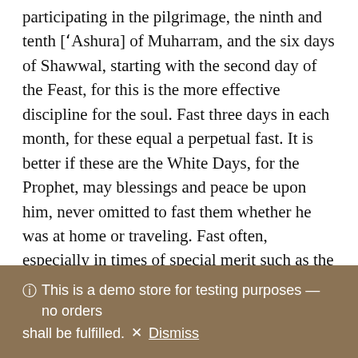participating in the pilgrimage, the ninth and tenth ['Ashura] of Muharram, and the six days of Shawwal, starting with the second day of the Feast, for this is the more effective discipline for the soul. Fast three days in each month, for these equal a perpetual fast. It is better if these are the White Days, for the Prophet, may blessings and peace be upon him, never omitted to fast them whether he was at home or traveling. Fast often, especially in times of special merit such as the Inviolable Months, and noble days such as Mondays and Thursdays.
Know that fasting is the pillar of discipline and the basis of striving. It has been said that fasting constitutes half of fortitude. The Messenger of God, may blessings and peace
ⓘ This is a demo store for testing purposes — no orders shall be fulfilled. × Dismiss